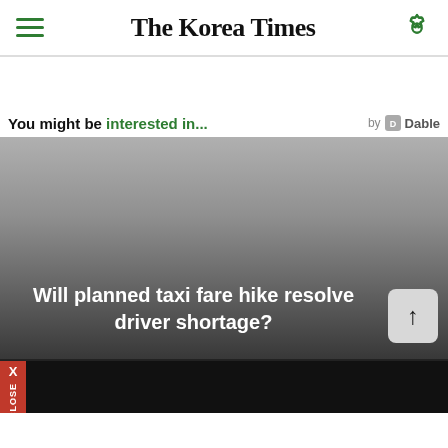The Korea Times
You might be interested in...  by Dable
[Figure (photo): Dark gradient image with overlaid text: 'Will planned taxi fare hike resolve driver shortage?' and a scroll-up button]
Will planned taxi fare hike resolve driver shortage?